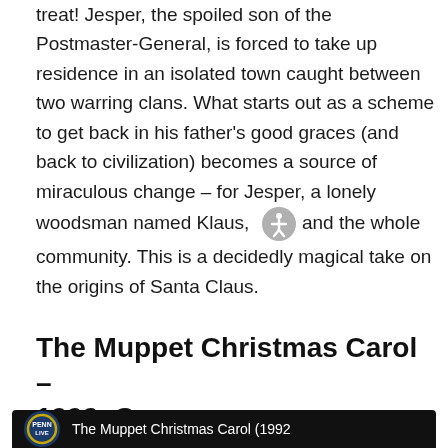treat! Jesper, the spoiled son of the Postmaster-General, is forced to take up residence in an isolated town caught between two warring clans. What starts out as a scheme to get back in his father's good graces (and back to civilization) becomes a source of miraculous change – for Jesper, a lonely woodsman named Klaus, and the whole community. This is a decidedly magical take on the origins of Santa Claus.
The Muppet Christmas Carol – 1992, G
[Figure (screenshot): Video thumbnail showing Penn Live logo and text 'The Muppet Christmas Carol (1992' on dark background]